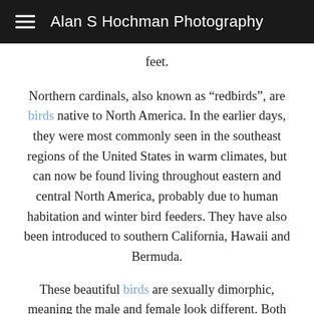Alan S Hochman Photography
feet.
Northern cardinals, also known as “redbirds”, are birds native to North America. In the earlier days, they were most commonly seen in the southeast regions of the United States in warm climates, but can now be found living throughout eastern and central North America, probably due to human habitation and winter bird feeders. They have also been introduced to southern California, Hawaii and Bermuda.
These beautiful birds are sexually dimorphic, meaning the male and female look different. Both have a similar shape and both have a crest of feathers on top of their heads. However, the males are bright red with a black mask on their face and the females are light brown with a reddish tinge on their crests, wings and tails. Adults are 8 to 9 inches in length, have a wingspan measuring between 10 to 12 inches and weigh about 1.5 to 1.7 ounces. Females are slightly smaller than males.